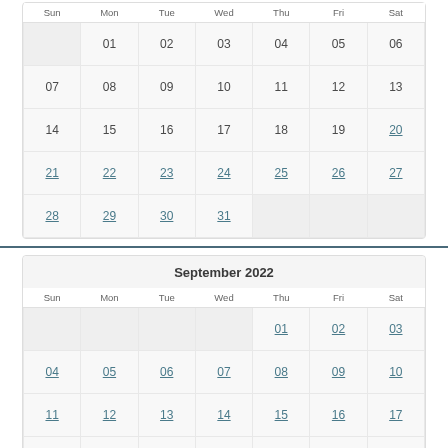| Sun | Mon | Tue | Wed | Thu | Fri | Sat |
| --- | --- | --- | --- | --- | --- | --- |
|  | 01 | 02 | 03 | 04 | 05 | 06 |
| 07 | 08 | 09 | 10 | 11 | 12 | 13 |
| 14 | 15 | 16 | 17 | 18 | 19 | 20 |
| 21 | 22 | 23 | 24 | 25 | 26 | 27 |
| 28 | 29 | 30 | 31 |  |  |  |
September 2022
| Sun | Mon | Tue | Wed | Thu | Fri | Sat |
| --- | --- | --- | --- | --- | --- | --- |
|  |  |  |  | 01 | 02 | 03 |
| 04 | 05 | 06 | 07 | 08 | 09 | 10 |
| 11 | 12 | 13 | 14 | 15 | 16 | 17 |
| 18 | 19 | 20 | 21 | 22 | 23 | 24 |